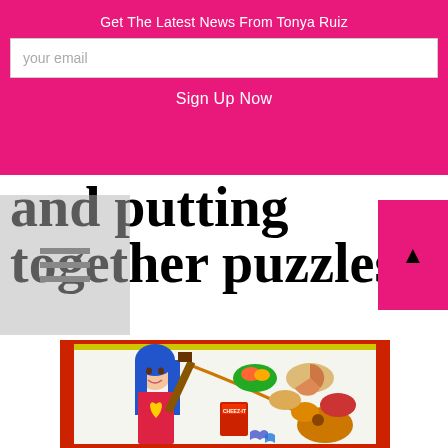Get The Latest News From Tonya Ruiz
your email
Sign Up Now
and putting together puzzles.
[Figure (photo): A doll with blue hair wearing a red heart-print dress lying in a box with a miniature guitar, miniature food items including pie, fruit bowl, crackers box (CHEEZ-IT), and puzzle pieces.]